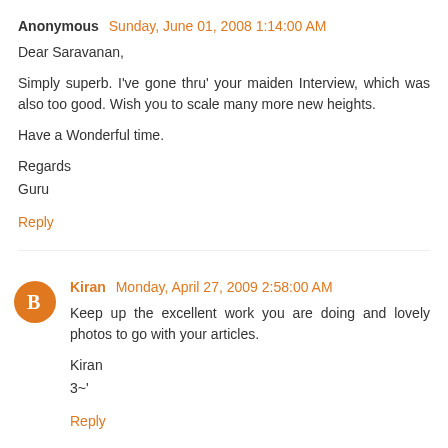Anonymous  Sunday, June 01, 2008 1:14:00 AM
Dear Saravanan,

Simply superb. I've gone thru' your maiden Interview, which was also too good. Wish you to scale many more new heights.

Have a Wonderful time.

Regards
Guru
Reply
Kiran  Monday, April 27, 2009 2:58:00 AM
Keep up the excellent work you are doing and lovely photos to go with your articles.

Kiran
3~'
Reply